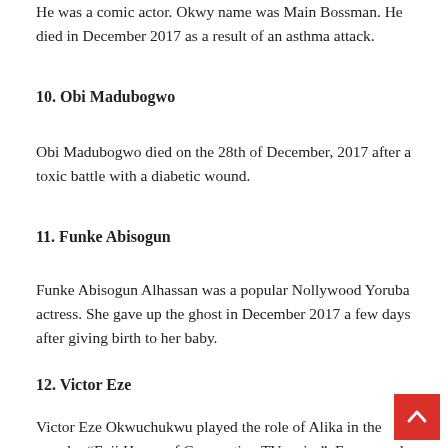He was a comic actor. Okwy name was Main Bossman. He died in December 2017 as a result of an asthma attack.
10. Obi Madubogwo
Obi Madubogwo died on the 28th of December, 2017 after a toxic battle with a diabetic wound.
11. Funke Abisogun
Funke Abisogun Alhassan was a popular Nollywood Yoruba actress. She gave up the ghost in December 2017 a few days after giving birth to her baby.
12. Victor Eze
Victor Eze Okwuchukwu played the role of Alika in the popular “Fuji House of Commotion TV series”. Eze passed away on